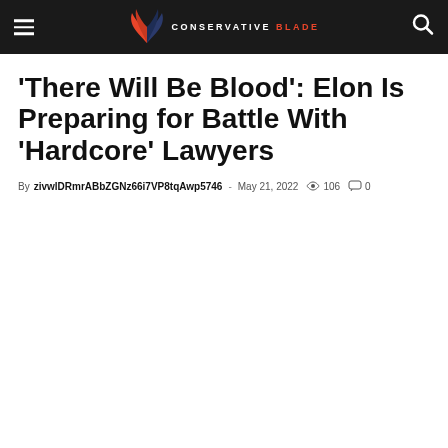Conservative Blade
‘There Will Be Blood’: Elon Is Preparing for Battle With ‘Hardcore’ Lawyers
By zivwlDRmrABbZGNz66i7VP8tqAwp5746 - May 21, 2022  106  0